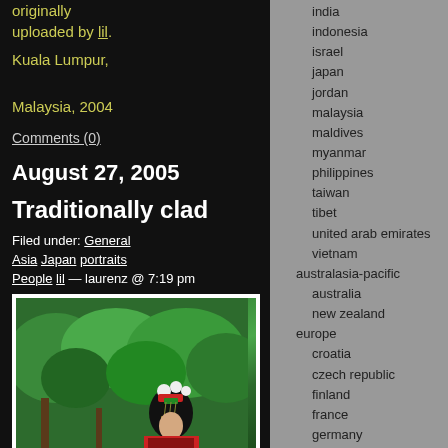originally uploaded by lil.
Kuala Lumpur, Malaysia, 2004
Comments (0)
August 27, 2005
Traditionally clad
Filed under: General
Asia Japan portraits
People lil — laurenz @ 7:19 pm
[Figure (photo): Woman in traditional Japanese dress with ornate hair accessories, green trees in background]
india
indonesia
israel
japan
jordan
malaysia
maldives
myanmar
philippines
taiwan
tibet
united arab emirates
vietnam
australasia-pacific
australia
new zealand
europe
croatia
czech republic
finland
france
germany
greece
iceland
ireland
italy
netherlands
norway
portugal
spain
turkey
united kingdom
general